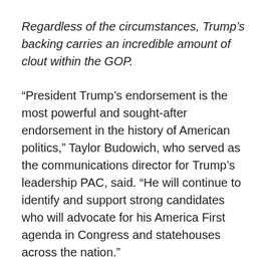Regardless of the circumstances, Trump's backing carries an incredible amount of clout within the GOP.
“President Trump’s endorsement is the most powerful and sought-after endorsement in the history of American politics,” Taylor Budowich, who served as the communications director for Trump’s leadership PAC, said. “He will continue to identify and support strong candidates who will advocate for his America First agenda in Congress and statehouses across the nation.”
His most recent endorsement came for the primary challenger to anti-Trump Republican Congresswoman, Rep. Liz Cheney.